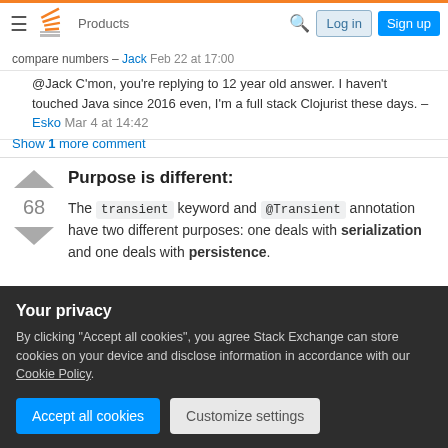≡  [Stack Overflow logo]  Products  🔍  Log in  Sign up
compare numbers – Jack Feb 22 at 17:00
@Jack C'mon, you're replying to 12 year old answer. I haven't touched Java since 2016 even, I'm a full stack Clojurist these days. – Esko Mar 4 at 14:42
Show 1 more comment
Purpose is different:
The transient keyword and @Transient annotation have two different purposes: one deals with serialization and one deals with persistence.
Your privacy
By clicking "Accept all cookies", you agree Stack Exchange can store cookies on your device and disclose information in accordance with our Cookie Policy.
stream.